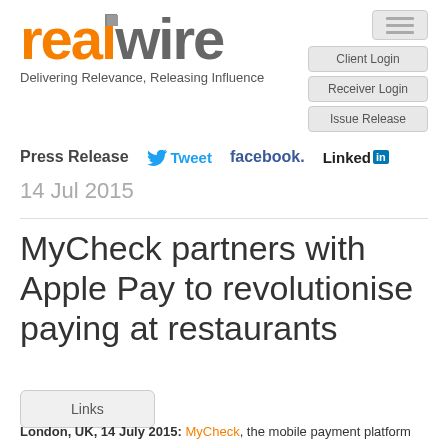[Figure (logo): RealWire logo: 'real' in orange bold and 'wire' in grey bold, with a small grey square accent on the 'l']
Delivering Relevance, Releasing Influence
[Figure (infographic): Navigation buttons: Client Login, Receiver Login, Issue Release, and a hamburger menu icon]
Press Release
Tweet  facebook.  Linked in
14 Jul 2015
MyCheck partners with Apple Pay to revolutionise paying at restaurants
Links
London, UK, 14 July 2015: MyCheck, the mobile payment platform